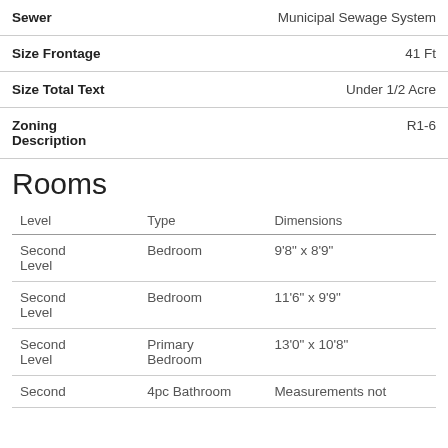| Label | Value |
| --- | --- |
| Sewer | Municipal Sewage System |
| Size Frontage | 41 Ft |
| Size Total Text | Under 1/2 Acre |
| Zoning Description | R1-6 |
Rooms
| Level | Type | Dimensions |
| --- | --- | --- |
| Second Level | Bedroom | 9'8" x 8'9" |
| Second Level | Bedroom | 11'6" x 9'9" |
| Second Level | Primary Bedroom | 13'0" x 10'8" |
| Second | 4pc Bathroom | Measurements not |